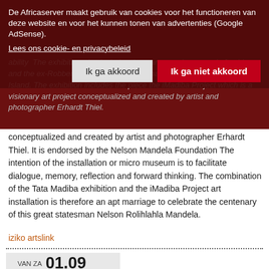De Africaserver maakt gebruik van cookies voor het functioneren van deze website en voor het kunnen tonen van advertenties (Google AdSense).
Lees ons cookie- en privacybeleid
Ik ga akkoord
Ik ga niet akkoord
ability  The exhibition also includes the many species named after him, and the ex-Robben fellow prisoners may have encountered on Robben Island. The exhibition includes the piece the iMadiba Project which is a visionary art project conceptualized and created by artist and photographer Erhardt Thiel. It is endorsed by the Nelson Mandela Foundation The intention of the installation or micro museum is to facilitate dialogue, memory, reflection and forward thinking. The combination of the Tata Madiba exhibition and the iMadiba Project art installation is therefore an apt marriage to celebrate the centenary of this great statesman Nelson Rolihlahla Mandela.
iziko artslink
[Figure (infographic): Date block showing VAN ZA 01.09 / T/M DI 30.10]
[Figure (photo): Black and white photograph of two silhouetted figures against a grey sky, one holding what appears to be a bow and arrow or stick.]